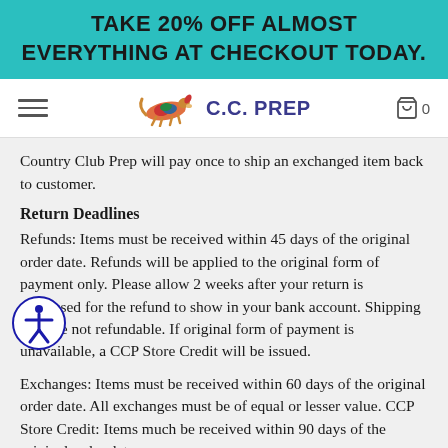TAKE 20% OFF ALMOST EVERYTHING AT CHECKOUT TODAY.
[Figure (logo): C.C. Prep logo with colorful dog and navigation bar]
Country Club Prep will pay once to ship an exchanged item back to customer.
Return Deadlines
Refunds: Items must be received within 45 days of the original order date. Refunds will be applied to the original form of payment only. Please allow 2 weeks after your return is processed for the refund to show in your bank account. Shipping fees are not refundable. If original form of payment is unavailable, a CCP Store Credit will be issued.
Exchanges: Items must be received within 60 days of the original order date. All exchanges must be of equal or lesser value. CCP Store Credit: Items much be received within 90 days of the original order date.